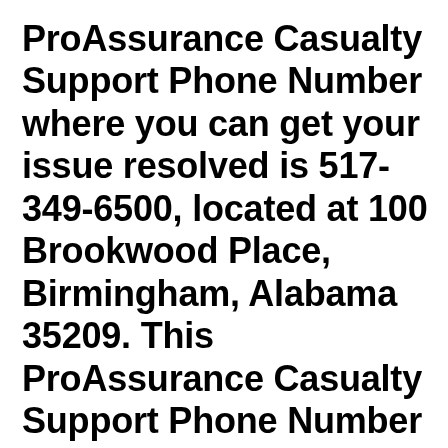ProAssurance Casualty Support Phone Number where you can get your issue resolved is 517-349-6500, located at 100 Brookwood Place, Birmingham, Alabama 35209. This ProAssurance Casualty Support Phone Number is a direct number (just